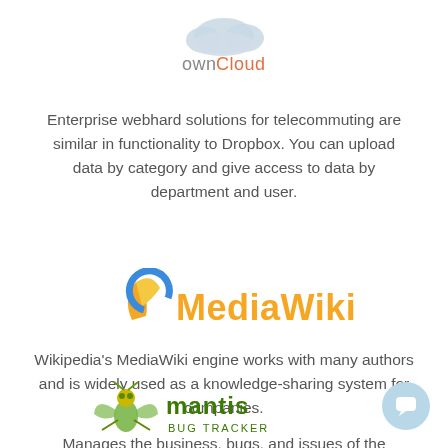[Figure (logo): ownCloud logo with cloud icon and text 'ownCloud']
Enterprise webhard solutions for telecommuting are similar in functionality to Dropbox. You can upload data by category and give access to data by department and user.
[Figure (logo): MediaWiki logo with orange/blue text 'MediaWiki' and leaf/circle icon]
Wikipedia's MediaWiki engine works with many authors and is widely used as a knowledge-sharing system for companies.
[Figure (logo): Mantis Bug Tracker logo with mantis insect illustration and text 'mantis BUG TRACKER']
Manages the business, bugs, and issues of the